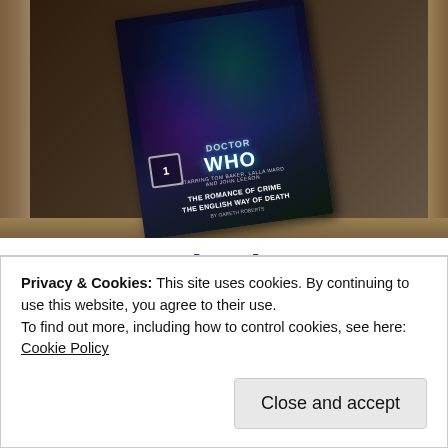[Figure (photo): Photo of a Doctor Who DVD box set (volume 1) featuring Tom Baker, Lalla Ward and John Leeson, with stories 'The Romance of Crime' and 'The English Way of Death' by Gareth Roberts, placed on a wooden surface]
works best
[Figure (other): SEE PRICING button (blue)]
Privacy & Cookies: This site uses cookies. By continuing to use this website, you agree to their use.
To find out more, including how to control cookies, see here: Cookie Policy
Close and accept